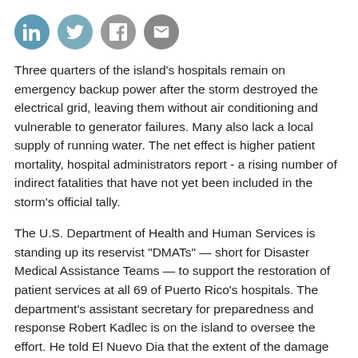[Figure (other): Row of four social media sharing icon circles: LinkedIn (blue), Twitter (teal), Facebook (gray), Email (dark gray)]
Three quarters of the island's hospitals remain on emergency backup power after the storm destroyed the electrical grid, leaving them without air conditioning and vulnerable to generator failures. Many also lack a local supply of running water. The net effect is higher patient mortality, hospital administrators report - a rising number of indirect fatalities that have not yet been included in the storm's official tally.
The U.S. Department of Health and Human Services is standing up its reservist "DMATs" — short for Disaster Medical Assistance Teams — to support the restoration of patient services at all 69 of Puerto Rico's hospitals. The department's assistant secretary for preparedness and response Robert Kadlec is on the island to oversee the effort. He told El Nuevo Dia that the extent of the damage was unprecedented. "I had never seen such a scale and extent of devastation as here," said